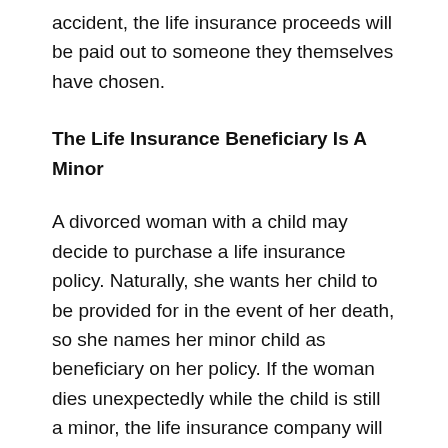accident, the life insurance proceeds will be paid out to someone they themselves have chosen.
The Life Insurance Beneficiary Is A Minor
A divorced woman with a child may decide to purchase a life insurance policy. Naturally, she wants her child to be provided for in the event of her death, so she names her minor child as beneficiary on her policy. If the woman dies unexpectedly while the child is still a minor, the life insurance company will not pay the death benefits directly to the child. The matter will have to go to court, and the court will have to appoint a guardian to manage the proceeds until the child turns either 18 or 21, depending on the state.
This complication could be avoided by setting up a